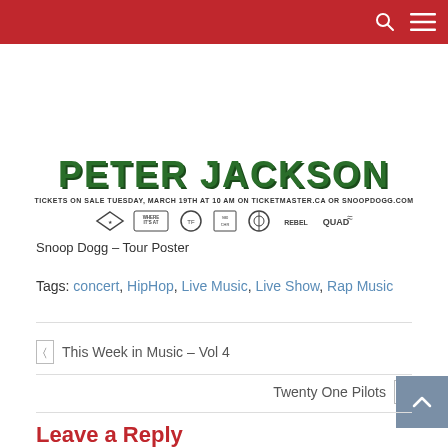Navigation bar with search and menu icons
[Figure (illustration): Snoop Dogg tour poster fragment showing stylized green text name with sponsor logos. Text: TICKETS ON SALE TUESDAY, MARCH 19TH AT 10 AM ON TICKETMASTER.CA OR SNOOPDOGG.COM. Sponsor logos row below.]
Snoop Dogg – Tour Poster
Tags: concert, HipHop, Live Music, Live Show, Rap Music
This Week in Music – Vol 4
Twenty One Pilots
Leave a Reply